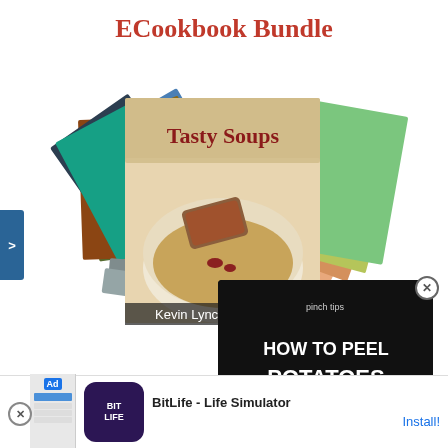ECookbook Bundle
[Figure (illustration): A stack of ecookbook covers fanned out, with the front cover showing 'Tasty Soups' by Kevin Lynch — a bowl of creamy soup with a piece of toast on top.]
[Figure (screenshot): Video thumbnail overlay showing 'HOW TO PEEL POTATOES' with pinch tips branding, dark background with potatoes in corner, and a play button.]
[Figure (other): Mobile advertisement for BitLife - Life Simulator app with Install button, showing BitLife logo and app preview screenshots.]